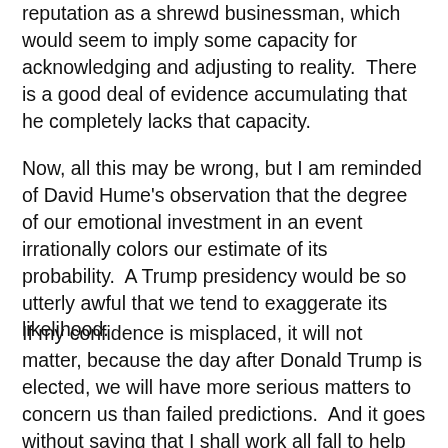reputation as a shrewd businessman, which would seem to imply some capacity for acknowledging and adjusting to reality.  There is a good deal of evidence accumulating that he completely lacks that capacity.
Now, all this may be wrong, but I am reminded of David Hume's observation that the degree of our emotional investment in an event irrationally colors our estimate of its probability.  A Trump presidency would be so utterly awful that we tend to exaggerate its likelihood.
If my confidence is misplaced, it will not matter, because the day after Donald Trump is elected, we will have more serious matters to concern us than failed predictions.  And it goes without saying that I shall work all fall to help Clinton win North Carolina, which in a very close election could be the margin of victory for her.  The day after she wins, I will go back